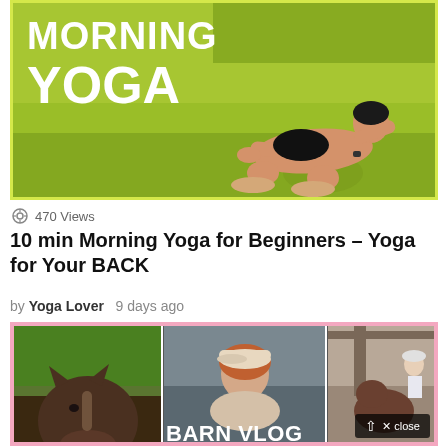[Figure (screenshot): Morning Yoga video thumbnail showing a woman in yoga pose on a green mat with text 'MORNING YOGA' overlaid]
470 Views
10 min Morning Yoga for Beginners – Yoga for Your BACK
by Yoga Lover  9 days ago
[Figure (screenshot): Barn Vlog video thumbnail with three panels: a horse's head, a woman in a car, and people with a horse in a barn. Text overlay reads 'BARN VLOG']